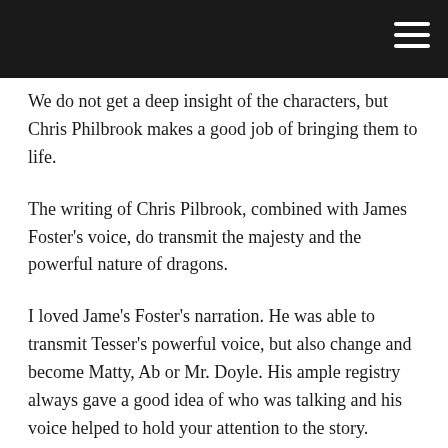We do not get a deep insight of the characters, but Chris Philbrook makes a good job of bringing them to life.
The writing of Chris Pilbrook, combined with James Foster's voice, do transmit the majesty and the powerful nature of dragons.
I loved Jame's Foster's narration. He was able to transmit Tesser's powerful voice, but also change and become Matty, Ab or Mr. Doyle. His ample registry always gave a good idea of who was talking and his voice helped to hold your attention to the story.
Not sure if it was my fault, but I had some issues with the action scenes, getting a bit lost and not sure what was happening. I wonder if I had the same if I had read the book.